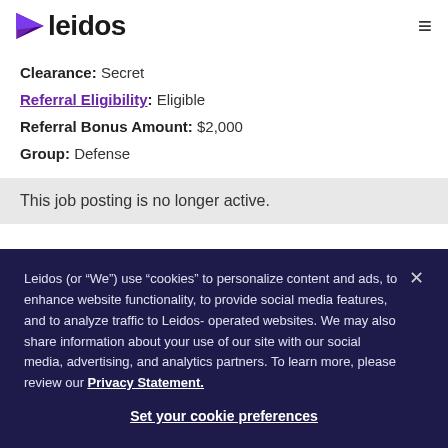leidos
Clearance: Secret
Referral Eligibility: Eligible
Referral Bonus Amount: $2,000
Group: Defense
This job posting is no longer active.
Leidos (or “We”) use “cookies” to personalize content and ads, to enhance website functionality, to provide social media features, and to analyze traffic to Leidos-operated websites. We may also share information about your use of our site with our social media, advertising, and analytics partners. To learn more, please review our Privacy Statement.
Set your cookie preferences